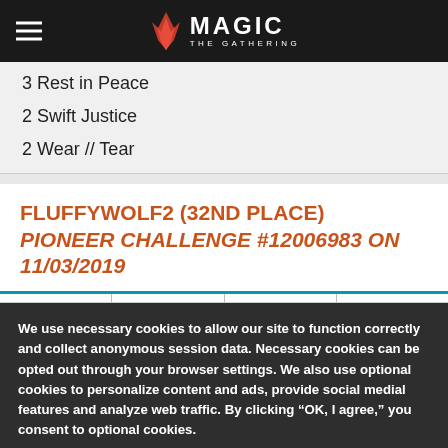MAGIC THE GATHERING
3 Rest in Peace
2 Swift Justice
2 Wear // Tear
FLUFFYWOLF2 (32ND PLACE) PIONEER CHALLENGE #12006983 ON 11/03/2019
We use necessary cookies to allow our site to function correctly and collect anonymous session data. Necessary cookies can be opted out through your browser settings. We also use optional cookies to personalize content and ads, provide social medial features and analyze web traffic. By clicking “OK, I agree,” you consent to optional cookies. (Learn more about cookies.)
OK, I agree   No, thanks